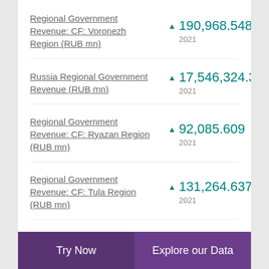Regional Government Revenue: CF: Voronezh Region (RUB mn)
Russia Regional Government Revenue (RUB mn)
Regional Government Revenue: CF: Ryazan Region (RUB mn)
Regional Government Revenue: CF: Tula Region (RUB mn)
Try Now | Explore our Data